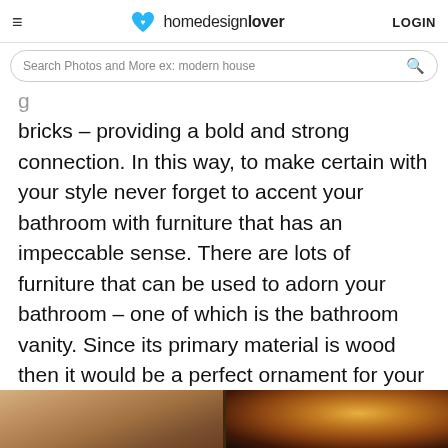homedesignlover LOGIN
Search Photos and More ex: modern house
bricks – providing a bold and strong connection. In this way, to make certain with your style never forget to accent your bathroom with furniture that has an impeccable sense. There are lots of furniture that can be used to adorn your bathroom – one of which is the bathroom vanity. Since its primary material is wood then it would be a perfect ornament for your rustic appeal bathroom.
[Figure (photo): Bottom portion of a bathroom interior photo, partially cropped, showing wooden and warm-toned elements]